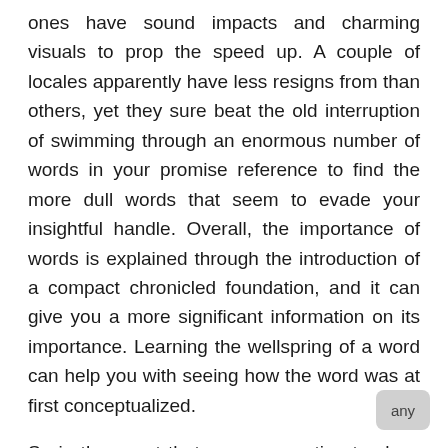ones have sound impacts and charming visuals to prop the speed up. A couple of locales apparently have less resigns from than others, yet they sure beat the old interruption of swimming through an enormous number of words in your promise reference to find the more dull words that seem to evade your insightful handle. Overall, the importance of words is explained through the introduction of a compact chronicled foundation, and it can give you a more significant information on its importance. Learning the wellspring of a word can help you with seeing how the word was at first conceptualized.
So in the event that you are wanting to show your child in the legend of word authority, by then this is the awesome surefire way to deal with go. Neologisms and portmanteaus new words and a blend of at any rate two words, independently are possible and less